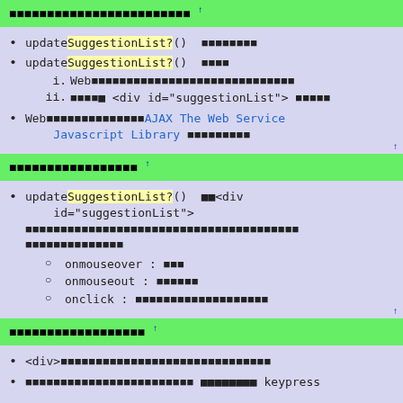■■■■■■■■■■■■■■■■■■■■■■■■ ↑
updateSuggestionList?() ■■■■■■■■
updateSuggestionList?() ■■■■
  i. Web■■■■■■■■■■■■■■■■■■■■■■■■■■■■
  ii. ■■■■■■ <div id="suggestionList"> ■■■■■
Web■■■■■■■■■■■■■■■■■■AJAX The Web Service Javascript Library ■■■■■■■■■
■■■■■■■■■■■■■■■■■ ↑
updateSuggestionList?() ■■<div id="suggestionList"> ■■■■■■■■■■■■■■■■■■■■■■■■■■■■■■■■■■■■■■
  o onmouseover : ■■■
  o onmouseout : ■■■■■■
  o onclick : ■■■■■■■■■■■■■■■■■■■
■■■■■■■■■■■■■■■■■■ ↑
<div>■■■■■■■■■■■■■■■■■■■■■■■■■■■■■■
■■■■■■■■■■■■■■■■■■■■■■ ■■■■■■■■ keypress